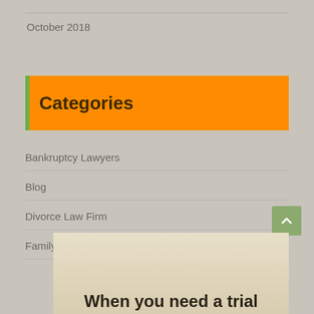October 2018
Categories
Bankruptcy Lawyers
Blog
Divorce Law Firm
Family Law Firm
[Figure (photo): Partial view of an article preview with the text 'When you need a trial']